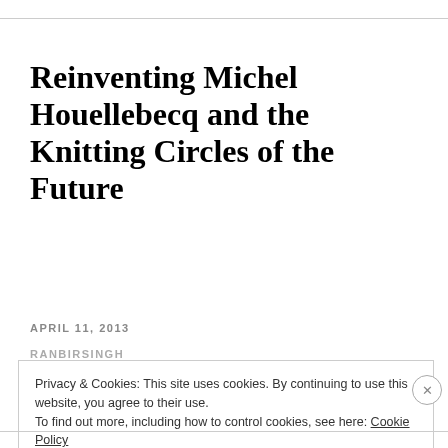Reinventing Michel Houellebecq and the Knitting Circles of the Future
APRIL 11, 2013
RANBIRSINGH
Privacy & Cookies: This site uses cookies. By continuing to use this website, you agree to their use. To find out more, including how to control cookies, see here: Cookie Policy
Close and accept